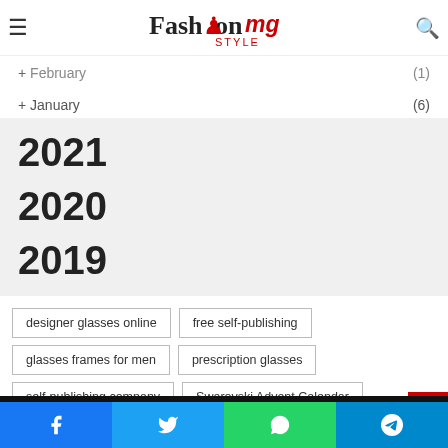FashionMG Style — navigation header with logo and search icon
+ February (1)
+ January (6)
2021
2020
2019
designer glasses online
free self-publishing
glasses frames for men
prescription glasses
self-publishing company
Swarovski Advent Calendar
Social sharing bar: Facebook, Twitter, WhatsApp, Telegram